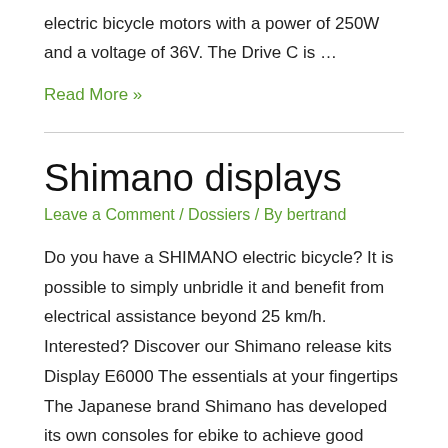electric bicycle motors with a power of 250W and a voltage of 36V. The Drive C is …
Read More »
Shimano displays
Leave a Comment / Dossiers / By bertrand
Do you have a SHIMANO electric bicycle? It is possible to simply unbridle it and benefit from electrical assistance beyond 25 km/h. Interested? Discover our Shimano release kits Display E6000 The essentials at your fingertips The Japanese brand Shimano has developed its own consoles for ebike to achieve good results in terms of power and performance. This …